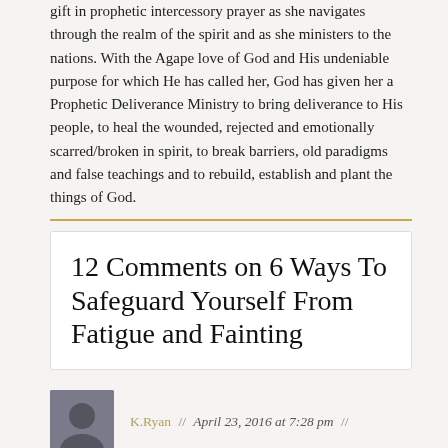gift in prophetic intercessory prayer as she navigates through the realm of the spirit and as she ministers to the nations. With the Agape love of God and His undeniable purpose for which He has called her, God has given her a Prophetic Deliverance Ministry to bring deliverance to His people, to heal the wounded, rejected and emotionally scarred/broken in spirit, to break barriers, old paradigms and false teachings and to rebuild, establish and plant the things of God.
12 Comments on 6 Ways To Safeguard Yourself From Fatigue and Fainting
K.Ryan // April 23, 2016 at 7:28 pm //